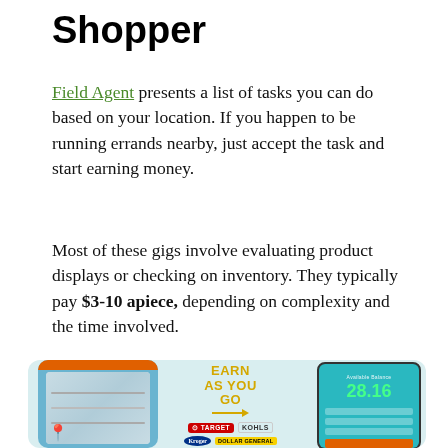Shopper
Field Agent presents a list of tasks you can do based on your location. If you happen to be running errands nearby, just accept the task and start earning money.
Most of these gigs involve evaluating product displays or checking on inventory. They typically pay $3-10 apiece, depending on complexity and the time involved.
[Figure (photo): Field Agent app promotional image showing two smartphones: one displaying a map with location pin and orange top bar, center showing 'EARN AS YOU GO' text with arrow and brand logos (Target, Kohl's, Kroger, Dollar General), and a second phone showing an available balance of 28.16 in green on teal background with form fields.]